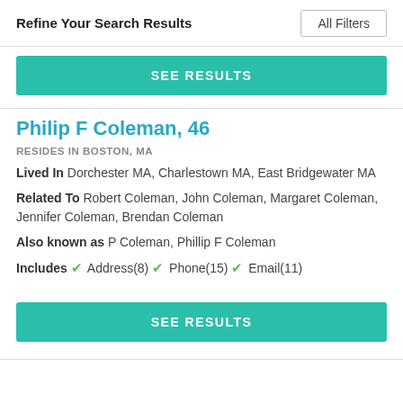Refine Your Search Results | All Filters
[Figure (other): SEE RESULTS teal button (top)]
Philip F Coleman, 46
RESIDES IN BOSTON, MA
Lived In Dorchester MA, Charlestown MA, East Bridgewater MA
Related To Robert Coleman, John Coleman, Margaret Coleman, Jennifer Coleman, Brendan Coleman
Also known as P Coleman, Phillip F Coleman
Includes ✓ Address(8) ✓ Phone(15) ✓ Email(11)
[Figure (other): SEE RESULTS teal button (bottom)]